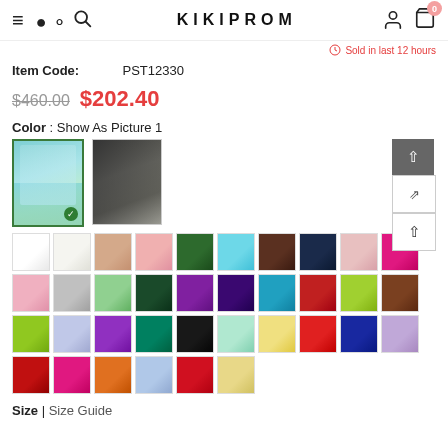KIKIPROM — navigation header with hamburger, search, logo, user, cart (0)
Sold in last 12 hours
Item Code: PST12330
$460.00  $202.40
Color : Show As Picture 1
[Figure (photo): Two color option thumbnails of a prom dress — one light blue sparkle gown (selected, green checkmark), one dark dress. Below are color swatch grids showing ~46 fabric color options in rows.]
Size | Size Guide